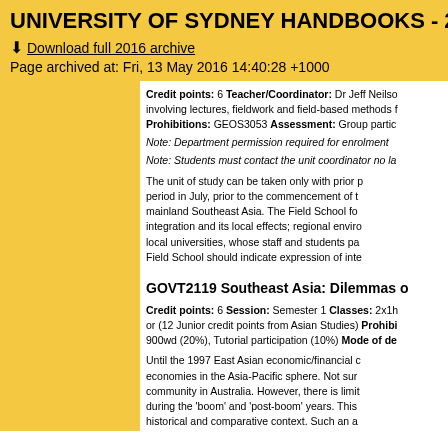UNIVERSITY OF SYDNEY HANDBOOKS - 2016
Download full 2016 archive
Page archived at: Fri, 13 May 2016 14:40:28 +1000
Credit points: 6 Teacher/Coordinator: Dr Jeff Neilso involving lectures, fieldwork and field-based methods Prohibitions: GEOS3053 Assessment: Group partic
Note: Department permission required for enrolment
Note: Students must contact the unit coordinator no la
The unit of study can be taken only with prior p period in July, prior to the commencement of t mainland Southeast Asia. The Field School fo integration and its local effects; regional enviro local universities, whose staff and students pa Field School should indicate expression of inte
GOVT2119 Southeast Asia: Dilemmas o
Credit points: 6 Session: Semester 1 Classes: 2x1h or (12 Junior credit points from Asian Studies) Prohibi 900wd (20%), Tutorial participation (10%) Mode of de
Until the 1997 East Asian economic/financial c economies in the Asia-Pacific sphere. Not sur community in Australia. However, there is limit during the 'boom' and 'post-boom' years. This historical and comparative context. Such an a dilemmas and changing patterns of developm